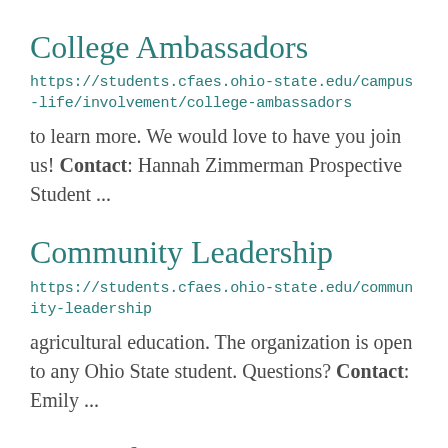College Ambassadors
https://students.cfaes.ohio-state.edu/campus-life/involvement/college-ambassadors
to learn more. We would love to have you join us! Contact: Hannah Zimmerman Prospective Student ...
Community Leadership
https://students.cfaes.ohio-state.edu/community-leadership
agricultural education. The organization is open to any Ohio State student. Questions? Contact: Emily ...
Research